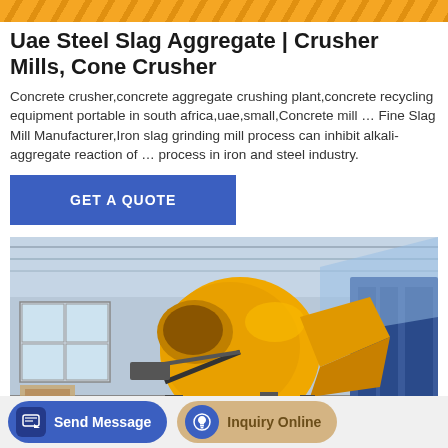[decorative chevron banner]
Uae Steel Slag Aggregate | Crusher Mills, Cone Crusher
Concrete crusher,concrete aggregate crushing plant,concrete recycling equipment portable in south africa,uae,small,Concrete mill … Fine Slag Mill Manufacturer,Iron slag grinding mill process can inhibit alkali-aggregate reaction of … process in iron and steel industry.
[Figure (other): Blue 'GET A QUOTE' button]
[Figure (photo): Yellow concrete mixer / crusher machine in industrial warehouse setting]
Send Message   Inquiry Online